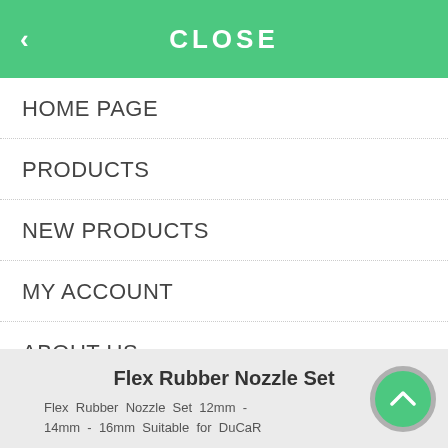< CLOSE
HOME PAGE
PRODUCTS
NEW PRODUCTS
MY ACCOUNT
ABOUT US
CONTACT US
Flex Rubber Nozzle Set
Flex Rubber Nozzle Set 12mm - 14mm - 16mm Suitable for DuCaR